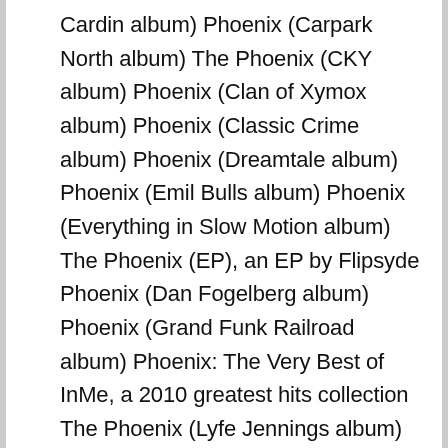Cardin album) Phoenix (Carpark North album) The Phoenix (CKY album) Phoenix (Clan of Xymox album) Phoenix (Classic Crime album) Phoenix (Dreamtale album) Phoenix (Emil Bulls album) Phoenix (Everything in Slow Motion album) The Phoenix (EP), an EP by Flipsyde Phoenix (Dan Fogelberg album) Phoenix (Grand Funk Railroad album) Phoenix: The Very Best of InMe, a 2010 greatest hits collection The Phoenix (Lyfe Jennings album) Phoenix (Just Surrender album) Phoenix (Labelle album) The Phoenix (Mastercastle album) Phoenix (Nocturnal Rites album) Phoenix (Rita Ora album) Phoenix, album by Pink Turns Blue The Phoenix (Raghav album) Phoenix (Warlocks album) Phoenix (EP), by the Warlocks Phoenix